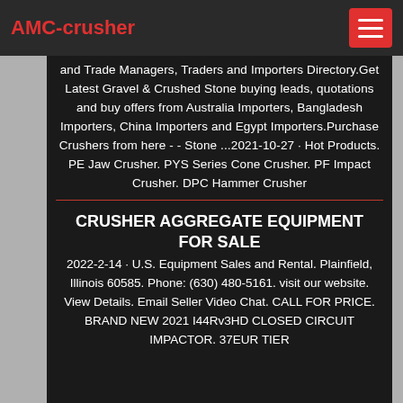AMC-crusher
and Trade Managers, Traders and Importers Directory.Get Latest Gravel & Crushed Stone buying leads, quotations and buy offers from Australia Importers, Bangladesh Importers, China Importers and Egypt Importers.Purchase Crushers from here - - Stone ...2021-10-27 · Hot Products. PE Jaw Crusher. PYS Series Cone Crusher. PF Impact Crusher. DPC Hammer Crusher
CRUSHER AGGREGATE EQUIPMENT FOR SALE
2022-2-14 · U.S. Equipment Sales and Rental. Plainfield, Illinois 60585. Phone: (630) 480-5161. visit our website. View Details. Email Seller Video Chat. CALL FOR PRICE. BRAND NEW 2021 I44Rv3HD CLOSED CIRCUIT IMPACTOR. 37EUR TIER